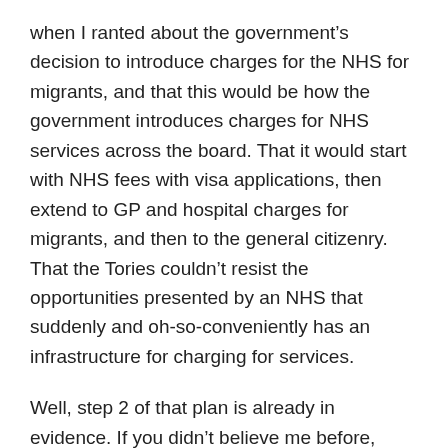when I ranted about the government's decision to introduce charges for the NHS for migrants, and that this would be how the government introduces charges for NHS services across the board. That it would start with NHS fees with visa applications, then extend to GP and hospital charges for migrants, and then to the general citizenry. That the Tories couldn't resist the opportunities presented by an NHS that suddenly and oh-so-conveniently has an infrastructure for charging for services.
Well, step 2 of that plan is already in evidence. If you didn't believe me before, perhaps you should believe me now.
Oh, and Jeremy Hunt: I've been here for ten years, I'm not a 'visitor'. I paid my own way as a PhD student and spent the years after that as a tax-payer, paying taxes for services I can't even legally use as a migrant. I've even